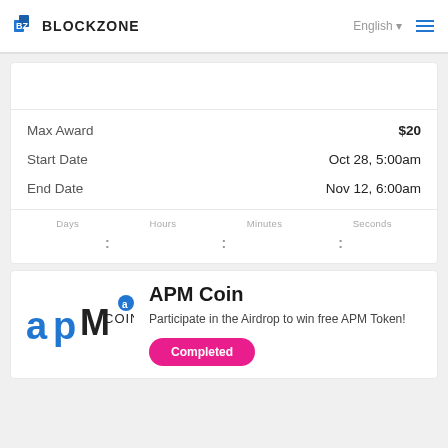BZ BLOCKZONE | English ▾ ☰
Max Award  $20
Start Date  Oct 28, 5:00am
End Date  Nov 12, 6:00am
Days : Hours : Minutes : Seconds
: : :
APM Coin
Participate in the Airdrop to win free APM Token!
Completed